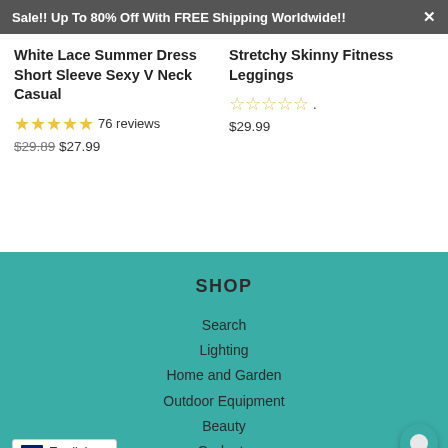Sale!! Up To 80% Off With FREE Shipping Worldwide!! ×
White Lace Summer Dress Short Sleeve Sexy V Neck Casual
★★★★★ 76 reviews $29.89 $27.99
Stretchy Skinny Fitness Leggings
☆☆☆☆☆ . $29.99
SHOP
Search
Lighting
Home and Garden
Outdoor Equipment
Beauty
Gadgets
utomobile
English